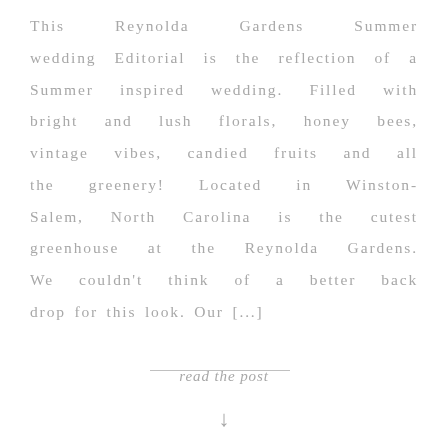This Reynolda Gardens Summer wedding Editorial is the reflection of a Summer inspired wedding. Filled with bright and lush florals, honey bees, vintage vibes, candied fruits and all the greenery! Located in Winston-Salem, North Carolina is the cutest greenhouse at the Reynolda Gardens. We couldn't think of a better back drop for this look. Our [...]
read the post
↓